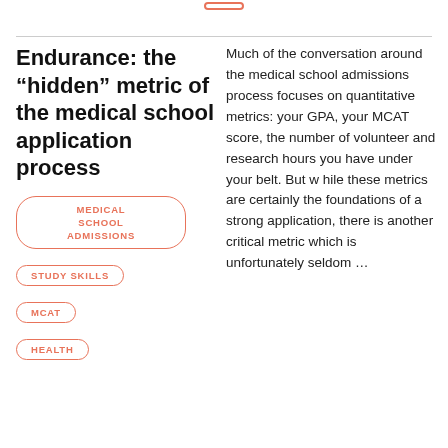Endurance: the “hidden” metric of the medical school application process
MEDICAL SCHOOL ADMISSIONS
STUDY SKILLS
MCAT
HEALTH
Much of the conversation around the medical school admissions process focuses on quantitative metrics: your GPA, your MCAT score, the number of volunteer and research hours you have under your belt. But w hile these metrics are certainly the foundations of a strong application, there is another critical metric which is unfortunately seldom …